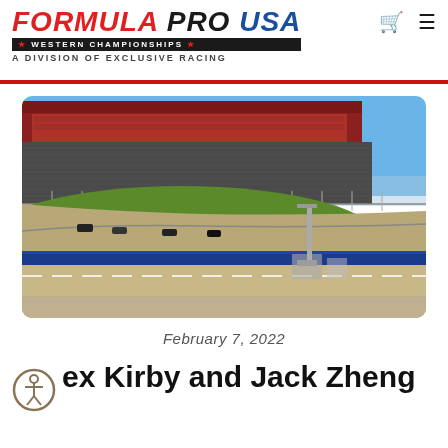FORMULA PRO USA WESTERN CHAMPIONSHIPS A DIVISION OF EXCLUSIVE RACING
[Figure (photo): Aerial view of a racing oval track with grandstands and pit lane, cars visible on track, blue sky background]
February 7, 2022
ex Kirby and Jack Zheng